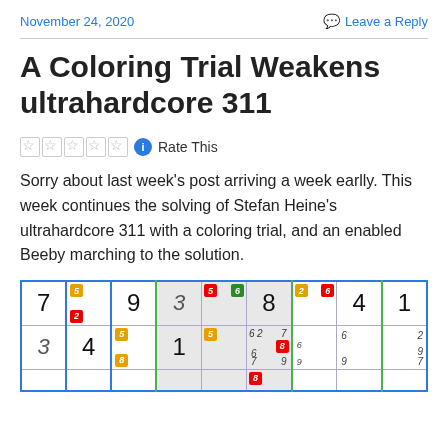November 24, 2020
Leave a Reply
A Coloring Trial Weakens ultrahardcore 311
Rate This
Sorry about last week's post arriving a week earlly. This week continues the solving of Stefan Heine's ultrahardcore 311 with a coloring trial, and an enabled Beeby marching to the solution.
[Figure (other): Partial sudoku grid with colored pencil marks showing a coloring trial. Cells contain digits 7,9,3,8,4,1 in row 1 and 3,4,1 in row 2 with various pencil marks in red, gold/orange, and green colors.]